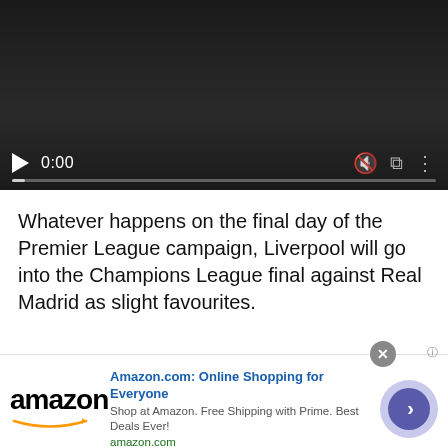[Figure (screenshot): Video player with dark background showing paused state at 0:00 with playback controls including play button, time display, mute icon, fullscreen icon, and more options icon, with a progress bar at the bottom]
Whatever happens on the final day of the Premier League campaign, Liverpool will go into the Champions League final against Real Madrid as slight favourites.
Even if Liverpool finish the season with the two domestic cups, it has been an incredible eight months for them. Nobody could have predicted
[Figure (screenshot): Amazon advertisement banner with amazon logo, title 'Amazon.com: Online Shopping for Everyone', subtitle 'Shop at Amazon. Free Shipping with Prime. Best Deals Ever!', amazon.com URL, close button, and navigation arrow circle]